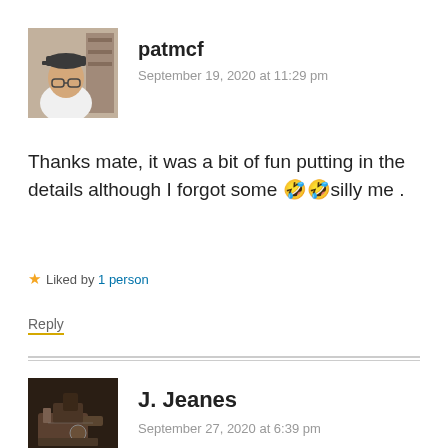[Figure (photo): Avatar photo of user patmcf, a person wearing a cap, white shirt, indoors with shelving in background]
patmcf
September 19, 2020 at 11:29 pm
Thanks mate, it was a bit of fun putting in the details although I forgot some 🤣🤣silly me .
★ Liked by 1 person
Reply
[Figure (photo): Avatar photo of user J. Jeanes, showing a metal machine or tool on a dark background]
J. Jeanes
September 27, 2020 at 6:39 pm